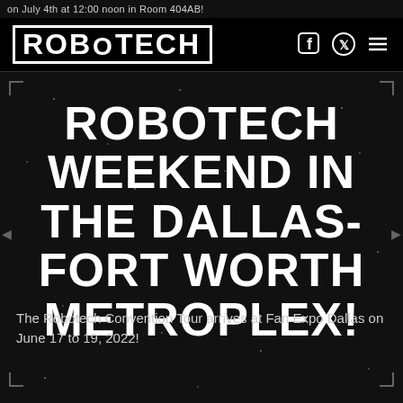on July 4th at 12:00 noon in Room 404AB!
[Figure (logo): ROBOTECH logo in white bold text with border, navigation bar with Facebook, Twitter, and menu icons on black background]
ROBOTECH WEEKEND IN THE DALLAS-FORT WORTH METROPLEX!
The Robotech Convention Tour arrives at Fan Expo Dallas on June 17 to 19, 2022!